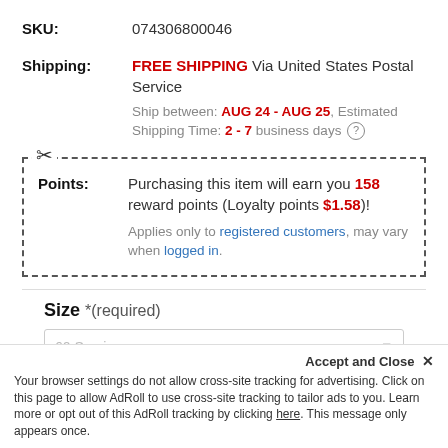SKU: 074306800046
Shipping: FREE SHIPPING Via United States Postal Service. Ship between: AUG 24 - AUG 25, Estimated Shipping Time: 2 - 7 business days
Points: Purchasing this item will earn you 158 reward points (Loyalty points $1.58)! Applies only to registered customers, may vary when logged in.
Size *(required)
60 Servings
Accept and Close ✕ Your browser settings do not allow cross-site tracking for advertising. Click on this page to allow AdRoll to use cross-site tracking to tailor ads to you. Learn more or opt out of this AdRoll tracking by clicking here. This message only appears once.